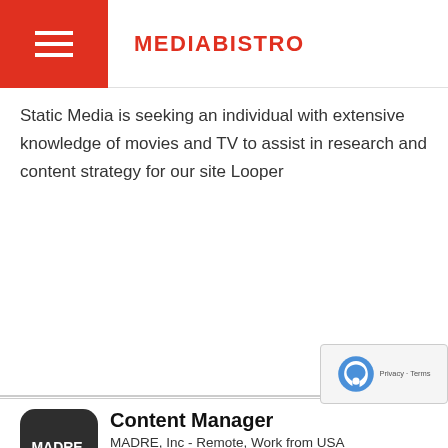MEDIABISTRO
Static Media is seeking an individual with extensive knowledge of movies and TV to assist in research and content strategy for our site Looper
Marketing Manager
MADRE, Inc - Remote, Work from USA
(about 18 hours ago)
MADRE is an international women's human rights organization and feminist fund that partners withcommunity-based women's groups in Africa, Asia and ...
Content Manager
MADRE, Inc - Remote, Work from USA